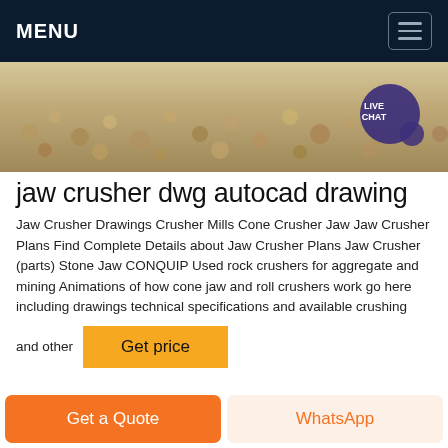MENU
[Figure (photo): Close-up photo of crushed stone/gravel aggregate material with a 'LIVE CHAT' badge overlay in the top-right corner]
jaw crusher dwg autocad drawing
Jaw Crusher Drawings Crusher Mills Cone Crusher Jaw Jaw Crusher Plans Find Complete Details about Jaw Crusher Plans Jaw Crusher (parts) Stone Jaw CONQUIP Used rock crushers for aggregate and mining Animations of how cone jaw and roll crushers work go here including drawings technical specifications and available crushing
and other
Get price
Get a Quote
WhatsApp